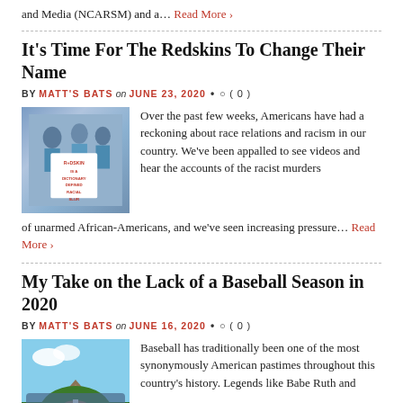and Media (NCARSM) and a... Read More ›
It's Time For The Redskins To Change Their Name
BY MATT'S BATS on JUNE 23, 2020 • ( 0 )
[Figure (photo): Protesters holding sign that reads 'Redskin is a dictionary defined racial slur']
Over the past few weeks, Americans have had a reckoning about race relations and racism in our country. We've been appalled to see videos and hear the accounts of the racist murders of unarmed African-Americans, and we've seen increasing pressure... Read More ›
My Take on the Lack of a Baseball Season in 2020
BY MATT'S BATS on JUNE 16, 2020 • ( 0 )
[Figure (photo): Aerial view of a baseball stadium]
Baseball has traditionally been one of the most synonymously American pastimes throughout this country's history. Legends like Babe Ruth and